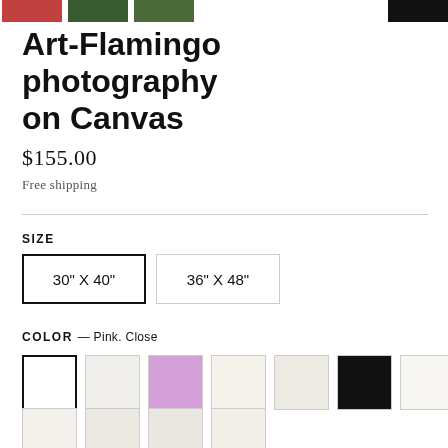[Figure (photo): Thumbnail images row at top: flamingo/red photo, green foliage photo, green foliage photo, black photo on right]
Art-Flamingo photography on Canvas
$155.00
Free shipping
SIZE
30" X 40" (selected)
36" X 48"
COLOR — Pink. Close
[Figure (other): Color swatches: white (selected), light gray, pink, cream, off-white, black, pale white in row 1; 4 more swatches in row 2]